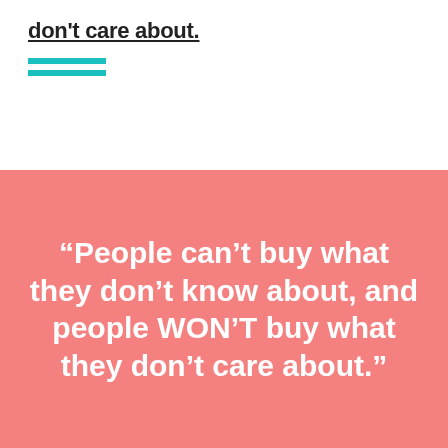don't care about.
[Figure (other): Two horizontal teal/turquoise decorative lines]
“People can’t buy what they don’t know about, and people WON’T buy what they don’t care about.”